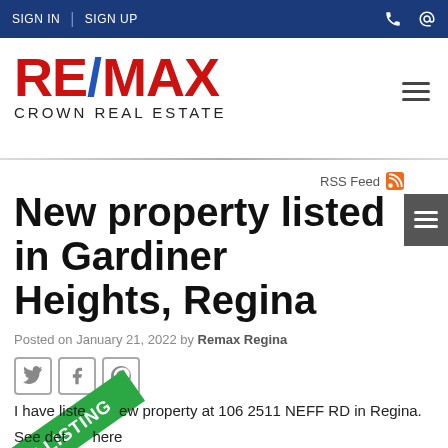SIGN IN | SIGN UP
[Figure (logo): RE/MAX Crown Real Estate logo — RE and MAX in red bold, slash in blue, CROWN REAL ESTATE in dark letters below]
RSS Feed
New property listed in Gardiner Heights, Regina
Posted on January 21, 2022 by Remax Regina
I have listed a new property at 106 2511 NEFF RD in Regina.
See details here